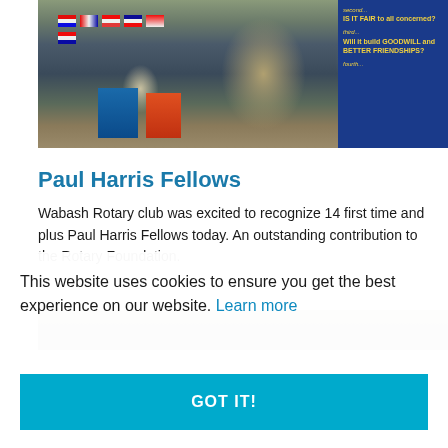[Figure (photo): A man standing at a Rotary club meeting with international flags displayed on a frame, Rotary banners visible, a blue banner on the right with yellow text about fairness and goodwill.]
Paul Harris Fellows
Wabash Rotary club was excited to recognize 14 first time and plus Paul Harris Fellows today. An outstanding contribution to the Rotary Foundation.
[Figure (photo): Partial view of a second photo showing a group at the Rotary meeting.]
This website uses cookies to ensure you get the best experience on our website. Learn more
GOT IT!